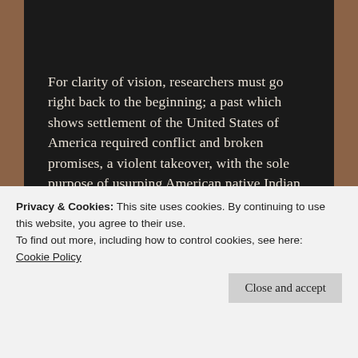For clarity of vision, researchers must go right back to the beginning; a past which shows settlement of the United States of America required conflict and broken promises, a violent takeover, with the sole purpose of usurping American native Indian populations' territories consequentially reducing them to homelessness on their own soil (let us never forget that Israel did this to the Palestinians too against the instruction of rabbinical orders, so motives
Privacy & Cookies: This site uses cookies. By continuing to use this website, you agree to their use.
To find out more, including how to control cookies, see here:
Cookie Policy
Close and accept